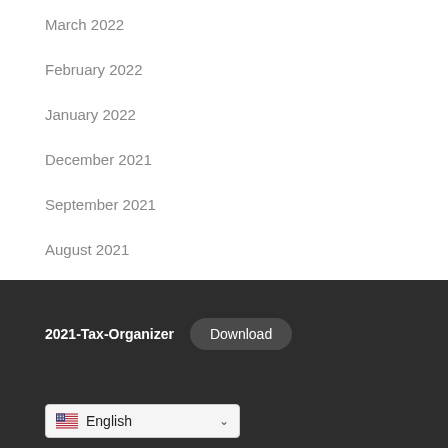March 2022
February 2022
January 2022
December 2021
September 2021
August 2021
July 2021
2021-Tax-Organizer  Download
English